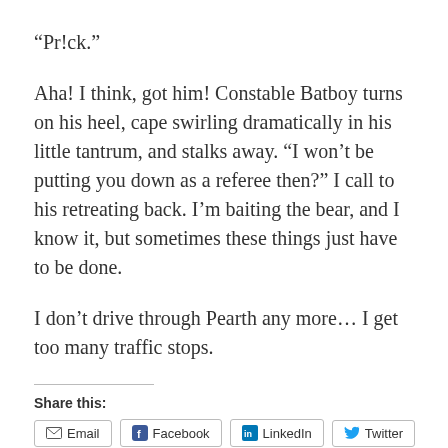“Pr!ck.”
Aha! I think, got him! Constable Batboy turns on his heel, cape swirling dramatically in his little tantrum, and stalks away. “I won’t be putting you down as a referee then?” I call to his retreating back. I’m baiting the bear, and I know it, but sometimes these things just have to be done.
I don’t drive through Pearth any more… I get too many traffic stops.
Share this:
Email | Facebook | LinkedIn | Twitter